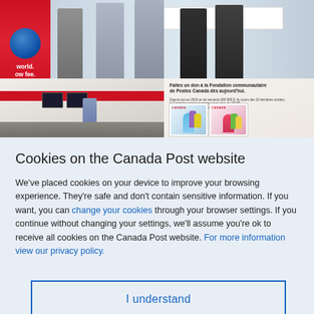[Figure (photo): Canada Post website screenshot showing three photos: top photo of people holding a large cheque in a Canada Post location, bottom-left photo of a Canada Post store interior with a staff member at the counter, bottom-right photo of a Canada Post Community Foundation donation advertisement with stamps.]
Cookies on the Canada Post website
We've placed cookies on your device to improve your browsing experience. They're safe and don't contain sensitive information. If you want, you can change your cookies through your browser settings. If you continue without changing your settings, we'll assume you're ok to receive all cookies on the Canada Post website. For more information view our privacy policy.
I understand